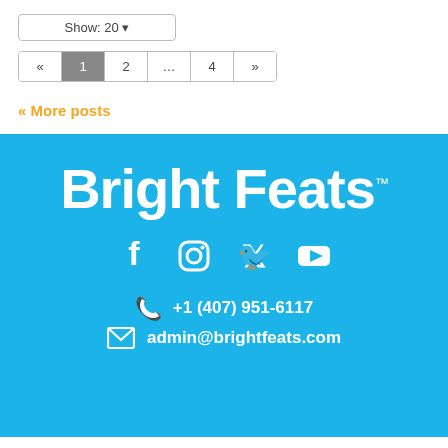Show: 20
« 1 2 … 4 »
« More posts
[Figure (logo): Bright Feats logo in white text on blue background with trademark symbol]
[Figure (illustration): Social media icons: Facebook, Instagram, Twitter, YouTube in white on blue]
+1 (407) 951-6117
admin@brightfeats.com